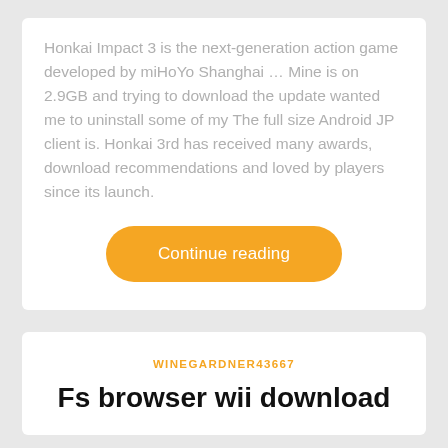Honkai Impact 3 is the next-generation action game developed by miHoYo Shanghai … Mine is on 2.9GB and trying to download the update wanted me to uninstall some of my The full size Android JP client is. Honkai 3rd has received many awards, download recommendations and loved by players since its launch.
[Figure (other): Orange pill-shaped button with white text reading 'Continue reading']
WINEGARDNER43667
Fs browser wii download